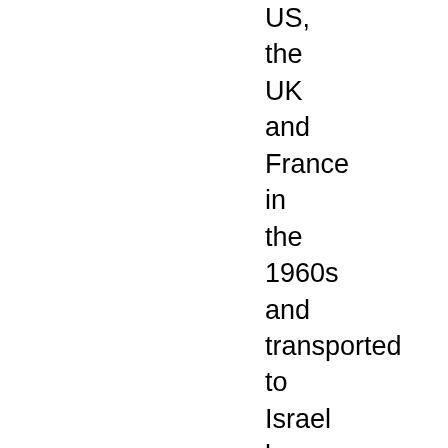US, the UK and France in the 1960s and transported to Israel by covert means (see Annex A). The most notorious instance was the theft of 200 pounds of enriched